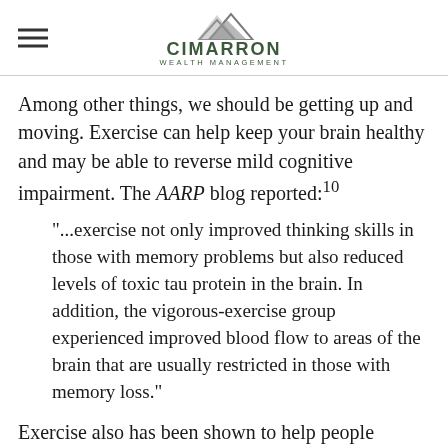CIMARRON WEALTH MANAGEMENT
Among other things, we should be getting up and moving. Exercise can help keep your brain healthy and may be able to reverse mild cognitive impairment. The AARP blog reported:10
“...exercise not only improved thinking skills in those with memory problems but also reduced levels of toxic tau protein in the brain. In addition, the vigorous-exercise group experienced improved blood flow to areas of the brain that are usually restricted in those with memory loss.”
Exercise also has been shown to help people